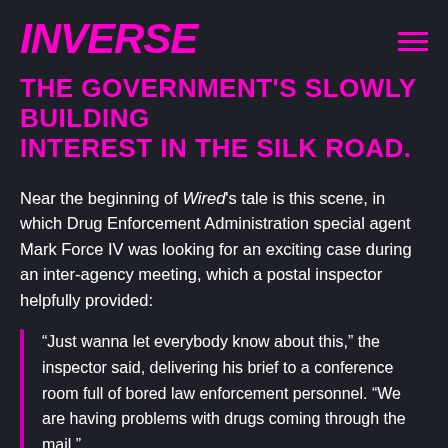INVERSE
THE GOVERNMENT'S SLOWLY BUILDING INTEREST IN THE SILK ROAD.
Near the beginning of Wired's tale is this scene, in which Drug Enforcement Administration special agent Mark Force IV was looking for an exciting case during an inter-agency meeting, which a postal inspector helpfully provided:
“Just wanna let everybody know about this,” the inspector said, delivering his brief to a conference room full of bored law enforcement personnel. “We are having problems with drugs coming through the mail.”